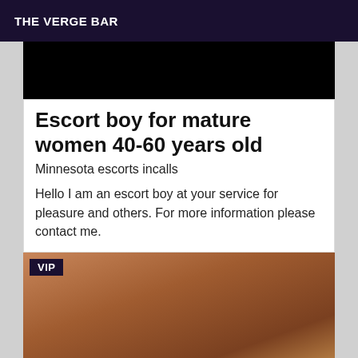THE VERGE BAR
[Figure (photo): Dark/black image at top of card]
Escort boy for mature women 40-60 years old
Minnesota escorts incalls
Hello I am an escort boy at your service for pleasure and others. For more information please contact me.
[Figure (photo): Photo of a person, with VIP badge in upper left corner]